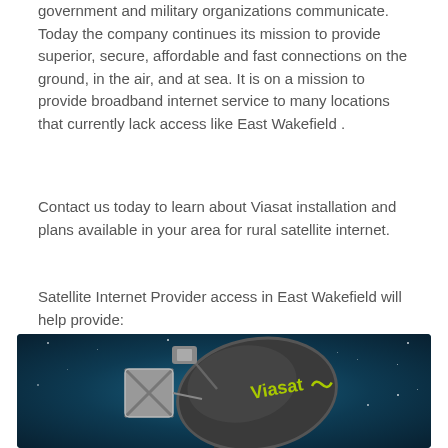government and military organizations communicate. Today the company continues its mission to provide superior, secure, affordable and fast connections on the ground, in the air, and at sea. It is on a mission to provide broadband internet service to many locations that currently lack access like East Wakefield .
Contact us today to learn about Viasat installation and plans available in your area for rural satellite internet.
Satellite Internet Provider access in East Wakefield will help provide:
[Figure (photo): Photo of a Viasat satellite dish with the Viasat logo on it, mounted against a dark blue starry night sky background.]